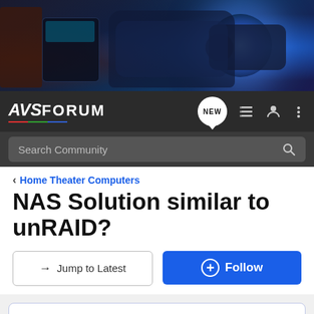[Figure (photo): AVSForum website banner showing home theater equipment including speaker, recliner chair, and projector on dark blue background]
AVS FORUM — Navigation bar with logo, NEW badge, menu icons, and search bar
< Home Theater Computers
NAS Solution similar to unRAID?
→ Jump to Latest   ⊕ Follow
LIVE: Tech Talk Podcast with Scott Wilkinson, Episode 9 Click here for details.